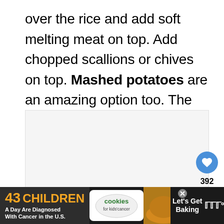over the rice and add soft melting meat on top. Add chopped scallions or chives on top. Mashed potatoes are an amazing option too. The potato and meat combo is unbeatable for me.
[Figure (other): Light gray image placeholder area below the text block]
[Figure (infographic): Advertisement banner at the bottom: '43 CHILDREN A Day Are Diagnosed With Cancer in the U.S.' with cookies for kids cancer branding and 'Let's Get Baking' call to action]